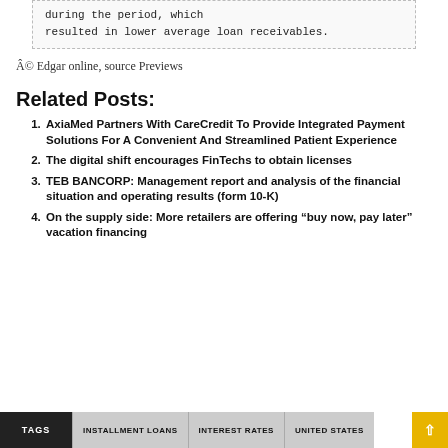during the period, which
resulted in lower average loan receivables.
© Edgar online, source Previews
Related Posts:
AxiaMed Partners With CareCredit To Provide Integrated Payment Solutions For A Convenient And Streamlined Patient Experience
The digital shift encourages FinTechs to obtain licenses
TEB BANCORP: Management report and analysis of the financial situation and operating results (form 10-K)
On the supply side: More retailers are offering “buy now, pay later” vacation financing
TAGS  INSTALLMENT LOANS  INTEREST RATES  UNITED STATES